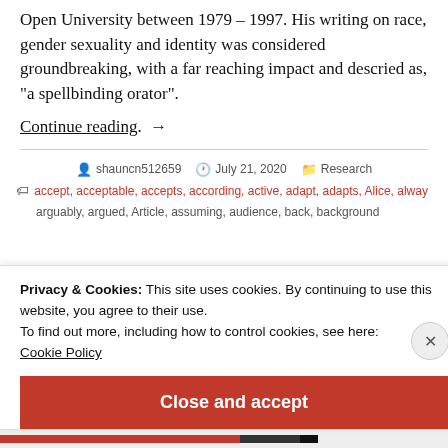Open University between 1979 – 1997. His writing on race, gender sexuality and identity was considered groundbreaking, with a far reaching impact and descried as, “a spellbinding orator”.
Continue reading. →
shauncn512659  July 21, 2020  Research
accept, acceptable, accepts, according, active, adapt, adapts, Alice, alway
arguably, argued, Article, assuming, audience, back, background
Privacy & Cookies: This site uses cookies. By continuing to use this website, you agree to their use.
To find out more, including how to control cookies, see here:
Cookie Policy
Close and accept